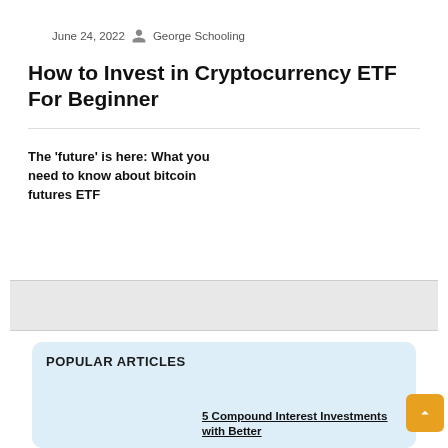June 24, 2022   George Schooling
How to Invest in Cryptocurrency ETF For Beginner
The ‘future’ is here: What you need to know about bitcoin futures ETF
POPULAR ARTICLES
5 Compound Interest Investments with Better